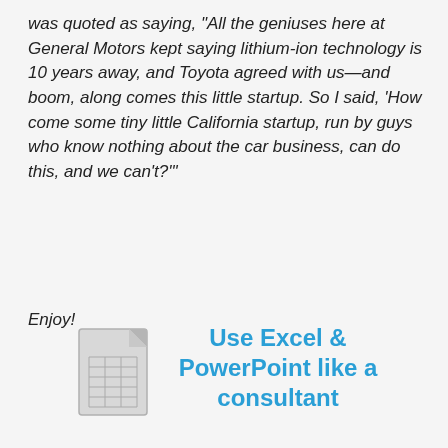was quoted as saying, “All the geniuses here at General Motors kept saying lithium-ion technology is 10 years away, and Toyota agreed with us—and boom, along comes this little startup. So I said, ‘How come some tiny little California startup, run by guys who know nothing about the car business, can do this, and we can’t?’”
Enjoy!
[Figure (illustration): A document/spreadsheet icon drawn in light gray, showing a page with a folded corner and a grid of rows and columns inside.]
Use Excel & PowerPoint like a consultant